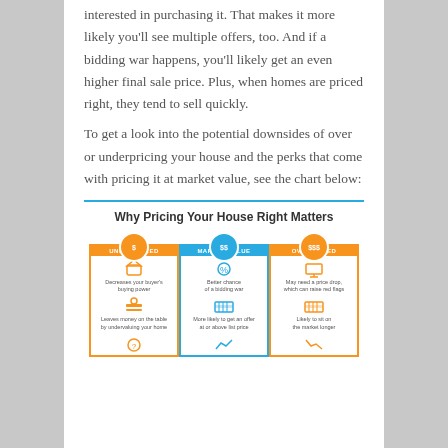interested in purchasing it. That makes it more likely you'll see multiple offers, too. And if a bidding war happens, you'll likely get an even higher final sale price. Plus, when homes are priced right, they tend to sell quickly.
To get a look into the potential downsides of over or underpricing your house and the perks that come with pricing it at market value, see the chart below:
[Figure (infographic): Infographic titled 'Why Pricing Your House Right Matters' showing three columns: UNDERPRICED ($), MARKET VALUE ($$), OVERPRICED ($$$). Under UNDERPRICED: 'Decreases your buyer's buying power' and 'Leaves money on the table by undervaluing your home'. Under MARKET VALUE: 'Better chance of a bidding war' and 'More likely to get an offer at or above list price'. Under OVERPRICED: 'May need a price drop, which can raise red flags' and 'Likely to sit on the market longer'.]